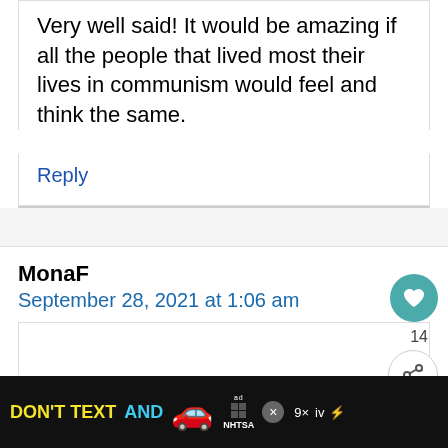Very well said! It would be amazing if all the people that lived most their lives in communism would feel and think the same.
Reply
MonaF
September 28, 2021 at 1:06 am
[Figure (screenshot): Advertisement banner: DON'T TEXT AND [car emoji] ad NHTSA with close button and other icons]